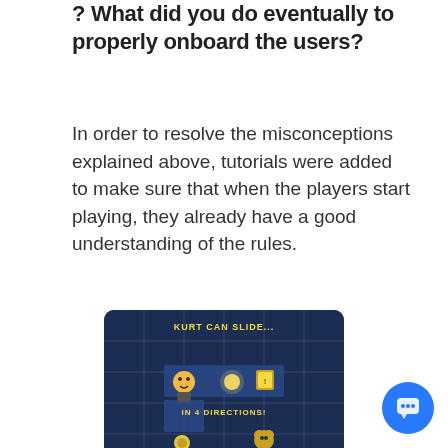? What did you do eventually to properly onboard the users?
In order to resolve the misconceptions explained above, tutorials were added to make sure that when the players start playing, they already have a good understanding of the rules.
[Figure (screenshot): A mobile game screenshot showing a puzzle game with a character named Kurt. Text on screen reads 'KURT CAN SLIDE...' and 'IN 4 DIRECTIONS!' with game grid tiles, a glowing orb, and coin/character icons on a dark blue background.]